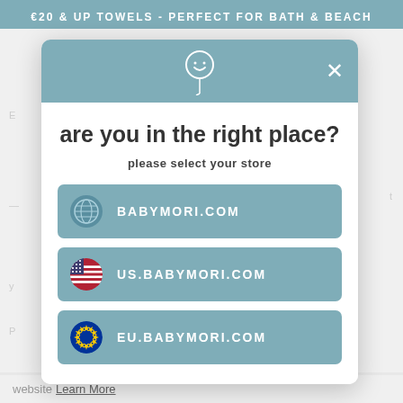€20 & UP TOWELS - PERFECT FOR BATH & BEACH
are you in the right place?
please select your store
BABYMORI.COM
US.BABYMORI.COM
EU.BABYMORI.COM
website Learn More